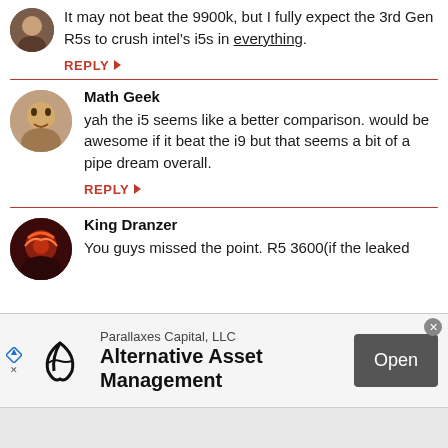It may not beat the 9900k, but I fully expect the 3rd Gen R5s to crush intel's i5s in everything.
REPLY
Math Geek
yah the i5 seems like a better comparison. would be awesome if it beat the i9 but that seems a bit of a pipe dream overall.
REPLY
King Dranzer
You guys missed the point. R5 3600(if the leaked
[Figure (infographic): Advertisement banner for Parallaxes Capital, LLC Alternative Asset Management with an Open button]